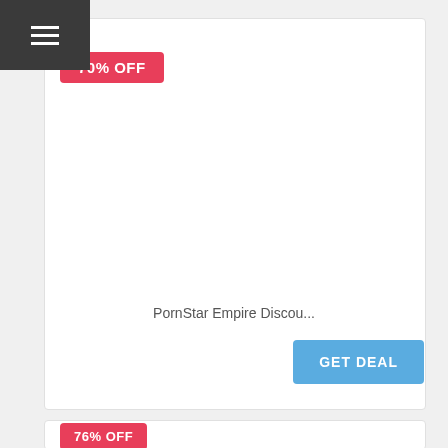menu icon (hamburger)
70% OFF
PornStar Empire Discou...
GET DEAL
76% OFF